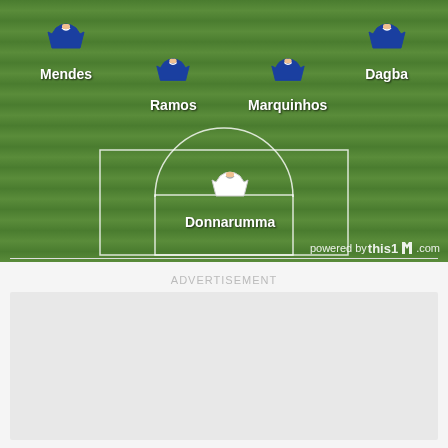[Figure (infographic): Football/soccer formation diagram showing PSG lineup on a green pitch. Players shown: Mendes (left back), Ramos (center back), Marquinhos (center back), Dagba (right back), and Donnarumma (goalkeeper). Blue shirts for outfield players, white shirt for goalkeeper. Pitch markings include penalty area, six-yard box, and penalty arc. Watermark: powered by this11.com]
ADVERTISEMENT